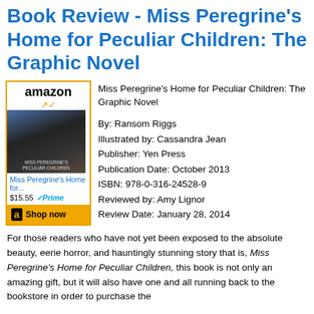Book Review - Miss Peregrine's Home for Peculiar Children: The Graphic Novel
[Figure (other): Amazon widget showing book cover for Miss Peregrine's Home for Peculiar Children: The Graphic Novel, priced at $15.55 with Prime, with a Shop Now button]
Miss Peregrine's Home for Peculiar Children: The Graphic Novel

By: Ransom Riggs
Illustrated by: Cassandra Jean
Publisher: Yen Press
Publication Date: October 2013
ISBN: 978-0-316-24528-9
Reviewed by: Amy Lignor
Review Date: January 28, 2014
For those readers who have not yet been exposed to the absolute beauty, eerie horror, and hauntingly stunning story that is, Miss Peregrine's Home for Peculiar Children, this book is not only an amazing gift, but it will also have one and all running back to the bookstore in order to purchase the